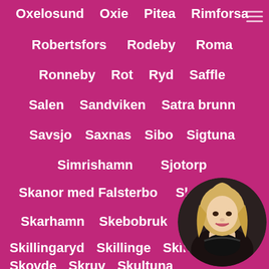Oxelosund   Oxie   Pitea   Rimforsa
Robertsfors   Rodeby   Roma
Ronneby   Rot   Ryd   Saffle
Salen   Sandviken   Satra brunn
Savsjo   Saxnas   Sibo   Sigtuna
Simrishamn   Sjotorp
Skanor med Falsterbo   Skarblacka
Skarhamn   Skebobruk   Skelleftea
Skillingaryd   Skillinge   Skinns...
Skovde   Skruv   Skultuna
Skutskar   Slite   Slottsskogen
[Figure (photo): Circular avatar photo of a blonde woman in black lingerie, positioned in the bottom-right corner]